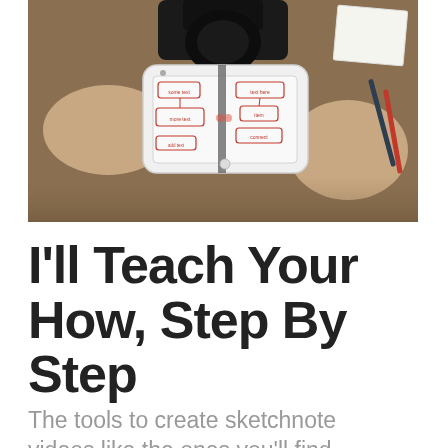[Figure (photo): Overhead/top-down photo of a person holding a smartphone mounted on a camera rig, with the phone screen showing a handwritten sketchnote mind-map diagram. The hands and wooden desk with pens are visible in the background.]
I'll Teach Your How, Step By Step
The tools to create sketchnote videos like the ones you'll find